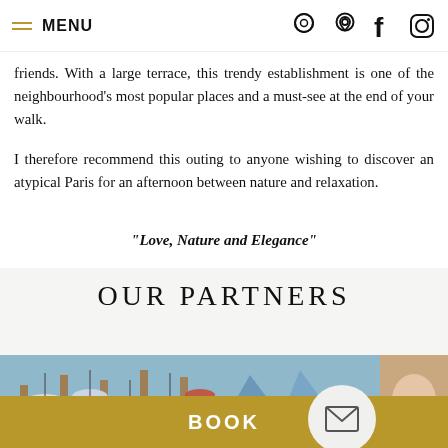MENU (navigation icons)
friends. With a large terrace, this trendy establishment is one of the neighbourhood's most popular places and a must-see at the end of your walk.
I therefore recommend this outing to anyone wishing to discover an atypical Paris for an afternoon between nature and relaxation.
“Love, Nature and Elegance”
OUR PARTNERS
[Figure (photo): Aerial view of a marina with boats docked at wooden piers, alongside a partial cropped image on the right]
BOOK